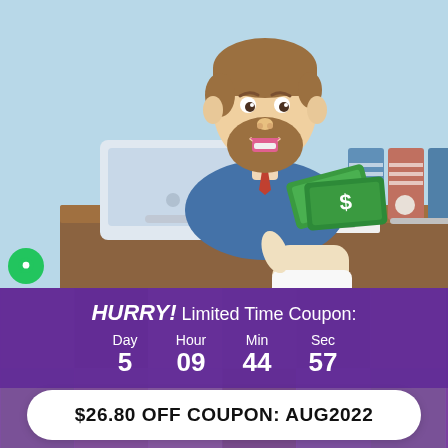[Figure (illustration): Cartoon illustration of a bearded businessman in a blue suit sitting at a desk, holding out green dollar bills. A hand from below reaches up to take the money. On the desk are papers and a pen. Behind the man are file folders in blue and pink. Background is light blue.]
HURRY! Limited Time Coupon:
Day 5  Hour 09  Min 44  Sec 57
$26.80 OFF COUPON: AUG2022